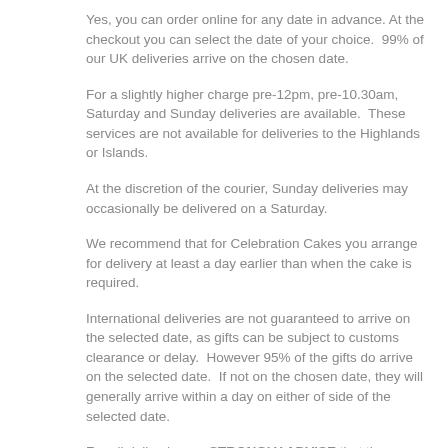Yes, you can order online for any date in advance. At the checkout you can select the date of your choice.  99% of our UK deliveries arrive on the chosen date.
For a slightly higher charge pre-12pm, pre-10.30am, Saturday and Sunday deliveries are available.  These services are not available for deliveries to the Highlands or Islands.
At the discretion of the courier, Sunday deliveries may occasionally be delivered on a Saturday.
We recommend that for Celebration Cakes you arrange for delivery at least a day earlier than when the cake is required.
International deliveries are not guaranteed to arrive on the selected date, as gifts can be subject to customs clearance or delay.  However 95% of the gifts do arrive on the selected date.  If not on the chosen date, they will generally arrive within a day on either of side of the selected date.
For all deliveries we STRONGLY ADVISE that the